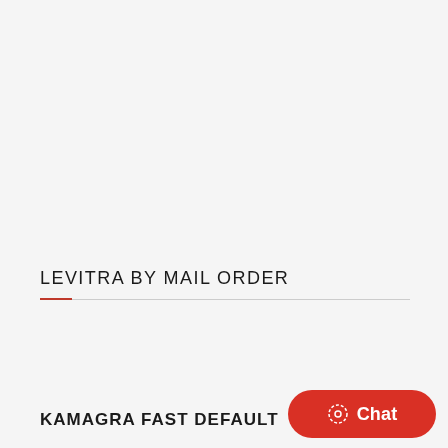LEVITRA BY MAIL ORDER
KAMAGRA FAST DEFAULT
[Figure (other): Red rounded rectangle chat button with circular dashed icon and 'Chat' label in white text]